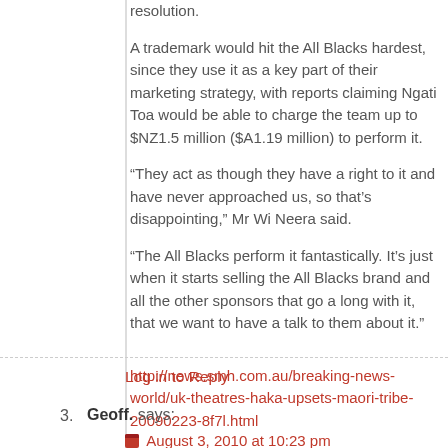resolution.
A trademark would hit the All Blacks hardest, since they use it as a key part of their marketing strategy, with reports claiming Ngati Toa would be able to charge the team up to $NZ1.5 million ($A1.19 million) to perform it.
“They act as though they have a right to it and have never approached us, so that’s disappointing,” Mr Wi Neera said.
“The All Blacks perform it fantastically. It’s just when it starts selling the All Blacks brand and all the other sponsors that go a long with it, that we want to have a talk to them about it.”
http://news.smh.com.au/breaking-news-world/uk-theatres-haka-upsets-maori-tribe-20090223-8f7l.html
Log in to Reply
3. Geoff. says:
August 3, 2010 at 10:23 pm